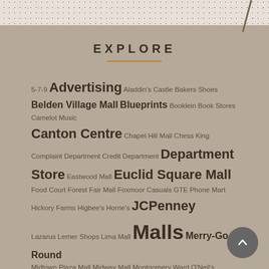[Figure (other): Top textured strip with speckled pattern, decorative diagonal line in upper right]
EXPLORE
5-7-9 Advertising Aladdin's Castle Bakers Shoes Belden Village Mall Blueprints Booklein Book Stores Camelot Music Canton Centre Chapel Hill Mall Chess King Complaint Department Credit Department Department Store Eastwood Mall Euclid Square Mall Food Court Forest Fair Mall Foxmoor Casuals GTE Phone Mart Hickory Farms Higbee's Horne's JCPenney Lazarus Lerner Shops Lima Mall Malls Merry-Go-Round Midtown Plaza Mall Midway Mall Montgomery Ward O'Neil's Postcards Radio Shack Randall Park Mall Rolling